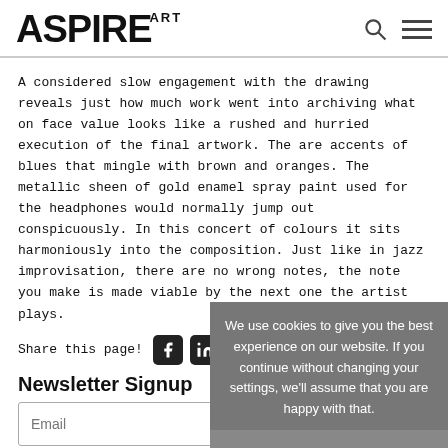ASPIRE ART
A considered slow engagement with the drawing reveals just how much work went into archiving what on face value looks like a rushed and hurried execution of the final artwork. The are accents of blues that mingle with brown and oranges. The metallic sheen of gold enamel spray paint used for the headphones would normally jump out conspicuously. In this concert of colours it sits harmoniously into the composition. Just like in jazz improvisation, there are no wrong notes, the note you make is made viable by the next one the artist plays.
Share this page!
Newsletter Signup
Email
Submit
We use cookies to give you the best experience on our website. If you continue without changing your settings, we'll assume that you are happy with that.
OK